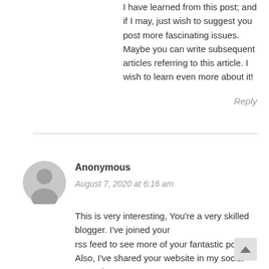I have learned from this post; and if I may, just wish to suggest you post more fascinating issues.
Maybe you can write subsequent articles referring to this article. I wish to learn even more about it!
Reply
[Figure (illustration): Grey circular avatar icon with a person silhouette]
Anonymous
August 7, 2020 at 6:16 am
This is very interesting, You’re a very skilled blogger. I’ve joined your rss feed to see more of your fantastic posts. Also, I’ve shared your website in my social networks.